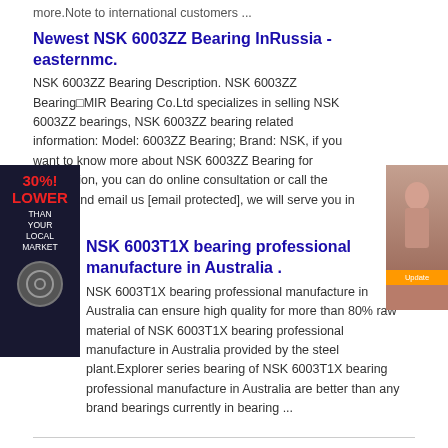more.Note to international customers ...
Newest NSK 6003ZZ Bearing InRussia - easternmc.
NSK 6003ZZ Bearing Description. NSK 6003ZZ BearingMIR Bearing Co.Ltd specializes in selling NSK 6003ZZ bearings, NSK 6003ZZ bearing related information: Model: 6003ZZ Bearing; Brand: NSK, if you want to know more about NSK 6003ZZ Bearing for information, you can do online consultation or call the hotline and email us [email protected], we will serve you in detail.
[Figure (photo): Advertisement overlay on left side: dark background with red '30%! LOWER THAN YOUR LOCAL MARKET' text and bearing circle logo. Right side: photo of woman with orange button.]
NSK 6003T1X bearing professional manufacture in Australia .
NSK 6003T1X bearing professional manufacture in Australia can ensure high quality for more than 80% raw material of NSK 6003T1X bearing professional manufacture in Australia provided by the steel plant.Explorer series bearing of NSK 6003T1X bearing professional manufacture in Australia are better than any brand bearings currently in bearing ...
Get Detailed Price
* Your Name:
Please enter your name
[Figure (screenshot): Blue contact button with chat icon at bottom right]